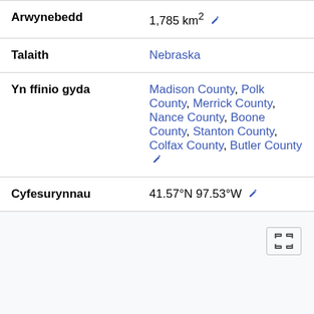| Label | Value |
| --- | --- |
| Arwynebedd | 1,785 km² |
| Talaith | Nebraska |
| Yn ffinio gyda | Madison County, Polk County, Merrick County, Nance County, Boone County, Stanton County, Colfax County, Butler County |
| Cyfesurynnau | 41.57°N 97.53°W |